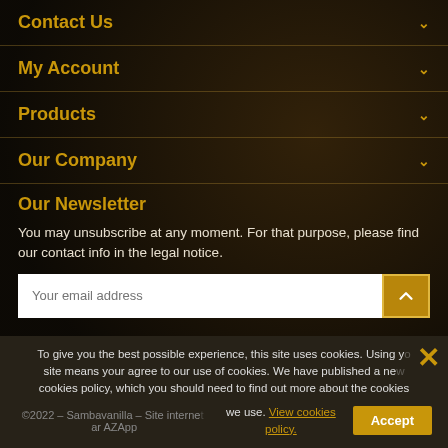Contact Us
My Account
Products
Our Company
Our Newsletter
You may unsubscribe at any moment. For that purpose, please find our contact info in the legal notice.
Your email address
To give you the best possible experience, this site uses cookies. Using your site means your agree to our use of cookies. We have published a new cookies policy, which you should need to find out more about the cookies we use. View cookies policy.
©2022 – Sambavanilla – Site internet par AZApp